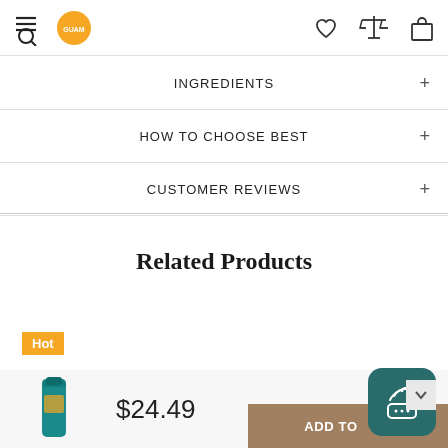GUAM navigation bar with menu, logo, wishlist, compare, and cart icons
INGREDIENTS +
HOW TO CHOOSE BEST +
CUSTOMER REVIEWS +
Related Products
Hot
$24.49
ADD TO CART